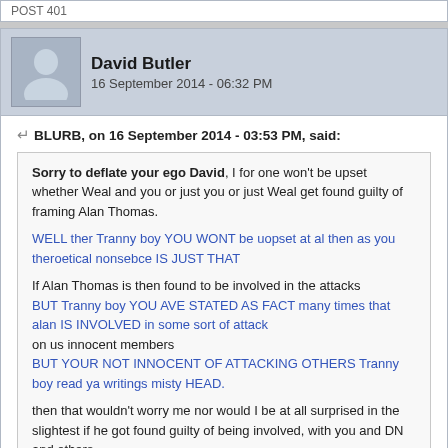POST 401
David Butler
16 September 2014 - 06:32 PM
BLURB, on 16 September 2014 - 03:53 PM, said:

Sorry to deflate your ego David, I for one won't be upset whether Weal and you or just you or just Weal get found guilty of framing Alan Thomas.

WELL ther Tranny boy YOU WONT be uopset at al then as you theroetical nonsebce IS JUST THAT

If Alan Thomas is then found to be involved in the attacks
BUT Tranny boy YOU AVE STATED AS FACT many times that alan IS INVOLVED in some sort of attack
on us innocent members
BUT YOUR NOT INNOCENT OF ATTACKING OTHERS Tranny boy read ya writings misty HEAD.

then that wouldn't worry me nor would I be at all surprised in the slightest if he got found guilty of being involved, with you and DN and others,